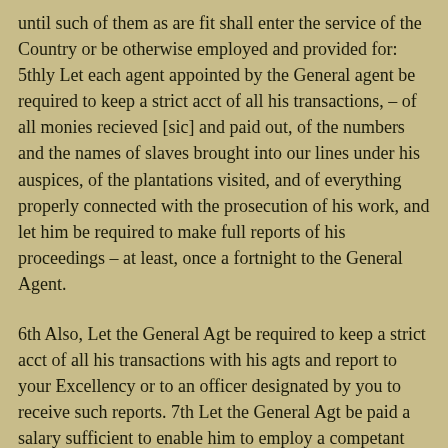until such of them as are fit shall enter the service of the Country or be otherwise employed and provided for: 5thly Let each agent appointed by the General agent be required to keep a strict acct of all his transactions, – of all monies recieved [sic] and paid out, of the numbers and the names of slaves brought into our lines under his auspices, of the plantations visited, and of everything properly connected with the prosecution of his work, and let him be required to make full reports of his proceedings – at least, once a fortnight to the General Agent.
6th Also, Let the General Agt be required to keep a strict acct of all his transactions with his agts and report to your Excellency or to an officer designated by you to receive such reports. 7th Let the General Agt be paid a salary sufficient to enable him to employ a competant [sic] Clerk, and let him be stationed at Washington – or at some other Point where he can most readily receive communications from and send communications to his Agents: The General Agt should also have a kind of roving Commission within